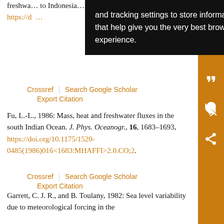freshwa... to Indonesia... 8. J. Geophy... https://d... [partial reference, top of page, partially obscured by tooltip]
[Figure (screenshot): Browser tooltip/cookie consent overlay in black background with white text: 'and tracking settings to store information that help give you the very best browsing experience.']
Crossref | Search Google Scholar
Export Citation
Fu, L.-L., 1986: Mass, heat and freshwater fluxes in the south Indian Ocean. J. Phys. Oceanogr., 16, 1683–1693, https://doi.org/10.1175/1520-0485(1986)016<1683:MHAFFI>2.0.CO;2.
Crossref | Search Google Scholar
Export Citation
Garrett, C. J. R., and B. Toulany, 1982: Sea level variability due to meteorological forcing in the